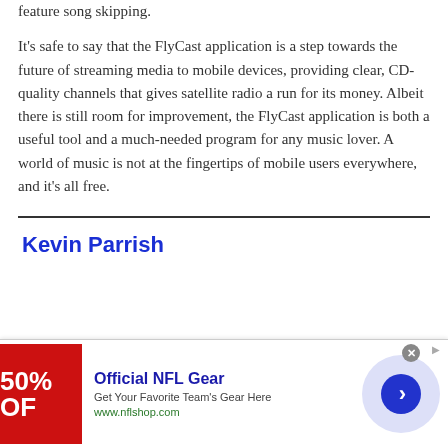feature song skipping.
It's safe to say that the FlyCast application is a step towards the future of streaming media to mobile devices, providing clear, CD-quality channels that gives satellite radio a run for its money. Albeit there is still room for improvement, the FlyCast application is both a useful tool and a much-needed program for any music lover. A world of music is not at the fingertips of mobile users everywhere, and it's all free.
Kevin Parrish
[Figure (other): Advertisement banner for Official NFL Gear showing 50% OFF with a red promotional image, text 'Get Your Favorite Team's Gear Here', URL www.nflshop.com, and a blue arrow button]